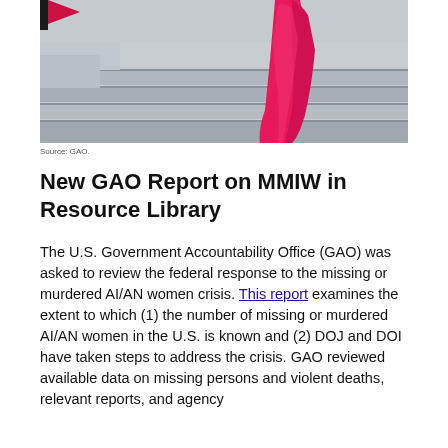[Figure (photo): A pink/red dress or cloth draped on a pole standing on stone steps, evoking a MMIW memorial. The background shows grey stone/concrete steps. The photo is cropped so the top of the figure is cut off.]
Source: GAO.
New GAO Report on MMIW in Resource Library
The U.S. Government Accountability Office (GAO) was asked to review the federal response to the missing or murdered AI/AN women crisis. This report examines the extent to which (1) the number of missing or murdered AI/AN women in the U.S. is known and (2) DOJ and DOI have taken steps to address the crisis. GAO reviewed available data on missing persons and violent deaths, relevant reports, and agency documentation including agency directives and